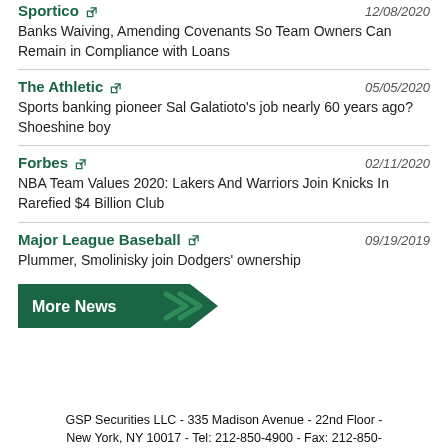Sportico — 12/08/2020 — Banks Waiving, Amending Covenants So Team Owners Can Remain in Compliance with Loans
The Athletic — 05/05/2020 — Sports banking pioneer Sal Galatioto's job nearly 60 years ago? Shoeshine boy
Forbes — 02/11/2020 — NBA Team Values 2020: Lakers And Warriors Join Knicks In Rarefied $4 Billion Club
Major League Baseball — 09/19/2019 — Plummer, Smolinisky join Dodgers' ownership
More News
GSP Securities LLC - 335 Madison Avenue - 22nd Floor - New York, NY 10017 - Tel: 212-850-4900 - Fax: 212-850-